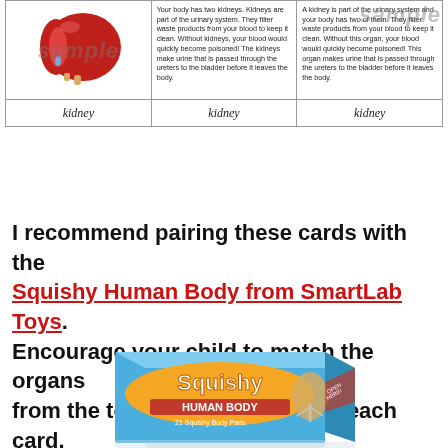[Figure (illustration): A three-column card layout showing kidney flash cards with a kidney illustration in the first column, descriptive text in the second column (with 'sample' watermark), and descriptive text in the third column (with 'sample' watermark at top right). Labels 'kidney' appear under each column.]
I recommend pairing these cards with the Squishy Human Body from SmartLab Toys. Encourage your child to match the organs from the toy with the organs on each card.
[Figure (photo): Box of 'Squishy Human Body' product from SmartLab Toys, showing colorful packaging with a skeleton/body figure.]